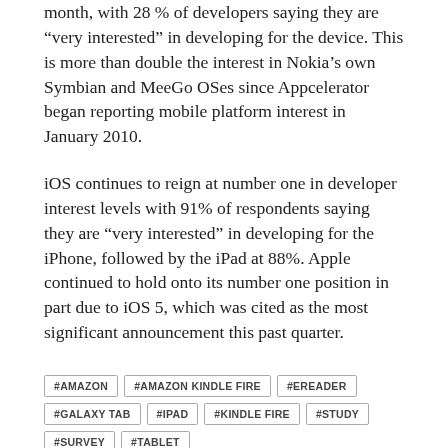month, with 28% of developers saying they are “very interested” in developing for the device. This is more than double the interest in Nokia’s own Symbian and MeeGo OSes since Appcelerator began reporting mobile platform interest in January 2010.
iOS continues to reign at number one in developer interest levels with 91% of respondents saying they are “very interested” in developing for the iPhone, followed by the iPad at 88%. Apple continued to hold onto its number one position in part due to iOS 5, which was cited as the most significant announcement this past quarter.
#AMAZON
#AMAZON KINDLE FIRE
#EREADER
#GALAXY TAB
#IPAD
#KINDLE FIRE
#STUDY
#SURVEY
#TABLET